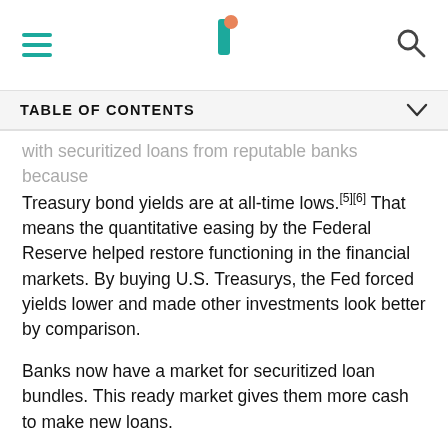Investopedia navigation bar with hamburger menu, logo, and search icon
TABLE OF CONTENTS
with securitized loans from reputable banks because Treasury bond yields are at all-time lows.[5][6] That means the quantitative easing by the Federal Reserve helped restore functioning in the financial markets. By buying U.S. Treasurys, the Fed forced yields lower and made other investments look better by comparison.
Banks now have a market for securitized loan bundles. This ready market gives them more cash to make new loans.
How the Secondary Market Affects You
[Figure (other): Dotdash Meredith advertisement banner on dark background: 'We help people find answers, solve problems and get inspired.' with D logo and Dotdash meredith branding]